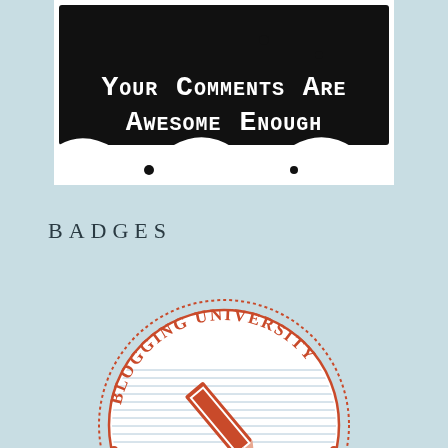[Figure (illustration): Black and white hand-drawn style image with white handwritten text on black background reading 'Your Comments Are Awesome Enough']
BADGES
[Figure (logo): Blogging University badge/seal in orange and white. Circular stamp design with text 'BLOGGING UNIVERSITY' around the top arc, a pencil icon in the center on lined paper background, and 'CLASS OF 2014' around the bottom arc with decorative dots.]